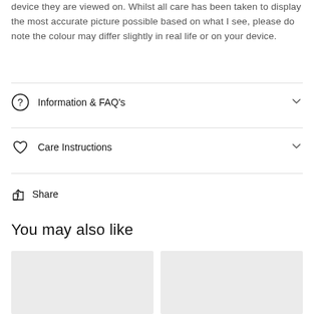device they are viewed on. Whilst all care has been taken to display the most accurate picture possible based on what I see, please do note the colour may differ slightly in real life or on your device.
Information & FAQ's
Care Instructions
Share
You may also like
[Figure (other): Two product placeholder image cards side by side]